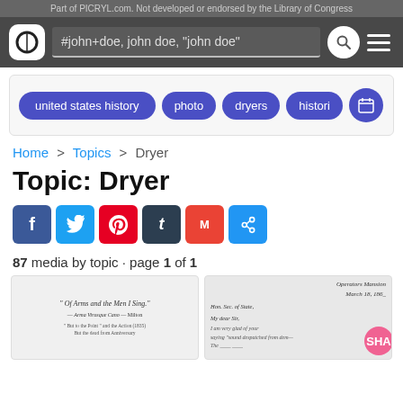Part of PICRYL.com. Not developed or endorsed by the Library of Congress
[Figure (screenshot): PICRYL.com search bar with logo, search query '#john+doe, john doe, "john doe"', search icon and menu icon on dark background]
[Figure (screenshot): Tag pills: united states history, photo, dryers, histori (truncated), and a calendar icon button]
Home > Topics > Dryer
Topic: Dryer
[Figure (screenshot): Social sharing buttons: Facebook, Twitter, Pinterest, Tumblr, Gmail, link]
87 media by topic · page 1 of 1
[Figure (screenshot): Two document thumbnails: left shows a printed page with 'Of Arms and the Men I Sing.', right shows a handwritten letter with cursive text including 'Sec. of State', 'My dear Sir,' with a pink SHA badge]